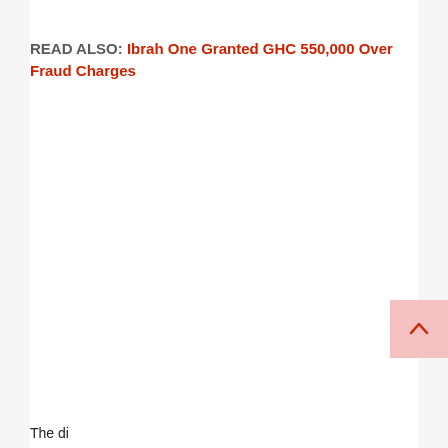READ ALSO: Ibrah One Granted GHC 550,000 Over Fraud Charges
The di...